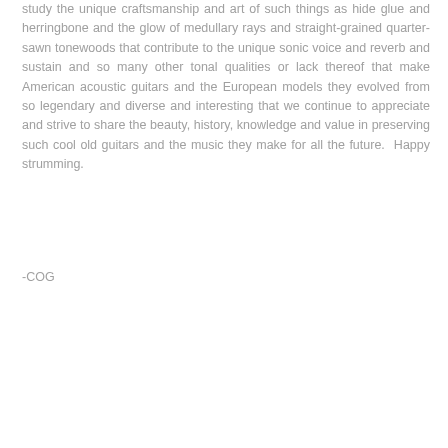study the unique craftsmanship and art of such things as hide glue and herringbone and the glow of medullary rays and straight-grained quarter-sawn tonewoods that contribute to the unique sonic voice and reverb and sustain and so many other tonal qualities or lack thereof that make American acoustic guitars and the European models they evolved from so legendary and diverse and interesting that we continue to appreciate and strive to share the beauty, history, knowledge and value in preserving such cool old guitars and the music they make for all the future.  Happy strumming.
-COG